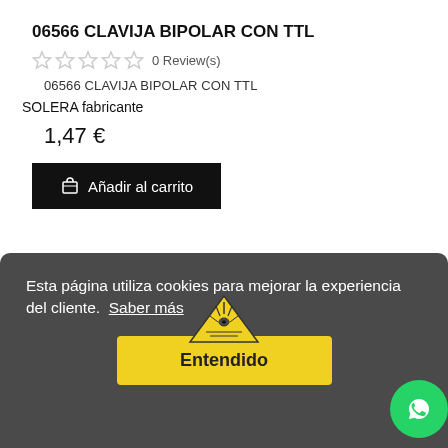06566 CLAVIJA BIPOLAR CON TTL
☆☆☆☆☆ 0 Review(s)
06566 CLAVIJA BIPOLAR CON TTL
SOLERA fabricante
1,47 €
Añadir al carrito
Esta página utiliza cookies para mejorar la experiencia del cliente.  Saber más
Entendido